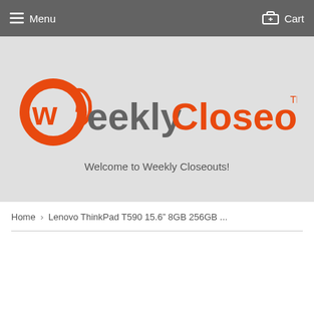Menu   Cart
[Figure (logo): WeeklyCloseouts logo with orange '@w' icon and gray/orange text reading 'weeklyCloseouts™']
Welcome to Weekly Closeouts!
Home › Lenovo ThinkPad T590 15.6" 8GB 256GB ...